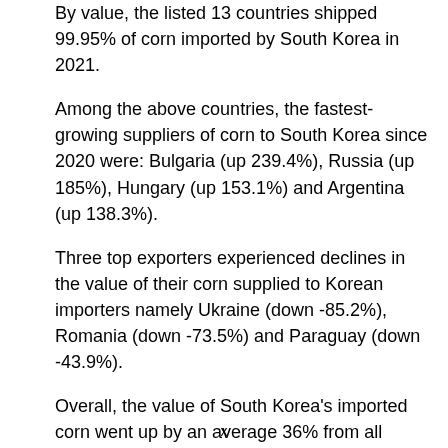By value, the listed 13 countries shipped 99.95% of corn imported by South Korea in 2021.
Among the above countries, the fastest-growing suppliers of corn to South Korea since 2020 were: Bulgaria (up 239.4%), Russia (up 185%), Hungary (up 153.1%) and Argentina (up 138.3%).
Three top exporters experienced declines in the value of their corn supplied to Korean importers namely Ukraine (down -85.2%), Romania (down -73.5%) and Paraguay (down -43.9%).
Overall, the value of South Korea's imported corn went up by an average 36% from all supplying countries since 2020 when corn purchased cost $2.4 billion.
x